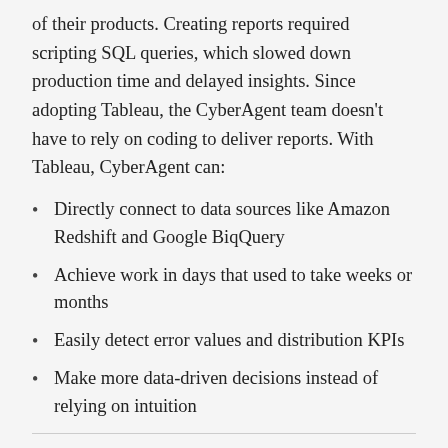of their products. Creating reports required scripting SQL queries, which slowed down production time and delayed insights. Since adopting Tableau, the CyberAgent team doesn't have to rely on coding to deliver reports. With Tableau, CyberAgent can:
Directly connect to data sources like Amazon Redshift and Google BiqQuery
Achieve work in days that used to take weeks or months
Easily detect error values and distribution KPIs
Make more data-driven decisions instead of relying on intuition
Tableau: How has Tableau changed things? Ken